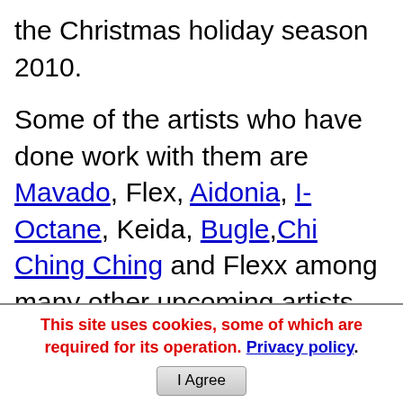the Christmas holiday season 2010.
Some of the artists who have done work with them are Mavado, Flex, Aidonia, I-Octane, Keida, Bugle,Chi Ching Ching and Flexx among many other upcoming artists.
They got their break in 2008 with the release of Vybz Kartel's "Trailer Load of Money" which was a hit in dancehall sessions and night clubs.
They also said that producers such as Stephen McGregor,DASECA, Sly and Robbie, Steelie
This site uses cookies, some of which are required for its operation. Privacy policy. I Agree